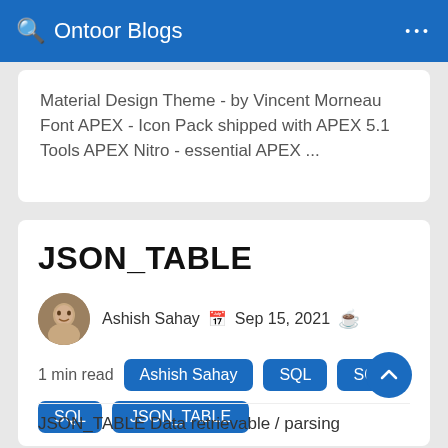Ontoor Blogs
Material Design Theme - by Vincent Morneau Font APEX - Icon Pack shipped with APEX 5.1 Tools APEX Nitro - essential APEX ...
JSON_TABLE
Ashish Sahay  Sep 15, 2021
1 min read  Ashish Sahay  SQL  SQL  SQL  JSON_TABLE
JSON_TABLE Data retrievable / parsing